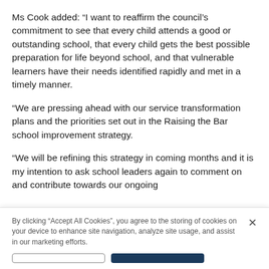Ms Cook added: “I want to reaffirm the council’s commitment to see that every child attends a good or outstanding school, that every child gets the best possible preparation for life beyond school, and that vulnerable learners have their needs identified rapidly and met in a timely manner.
“We are pressing ahead with our service transformation plans and the priorities set out in the Raising the Bar school improvement strategy.
“We will be refining this strategy in coming months and it is my intention to ask school leaders again to comment on and contribute towards our ongoing
By clicking “Accept All Cookies”, you agree to the storing of cookies on your device to enhance site navigation, analyze site usage, and assist in our marketing efforts.